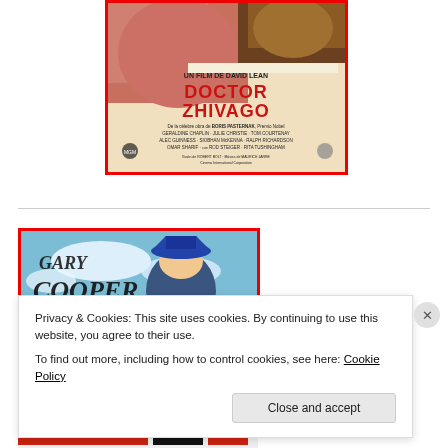[Figure (photo): Doctor Zhivago movie poster in Spanish. Shows 'UN FILM DE DAVID LEAN' and 'DOCTOR ZHIVAGO' in large red letters. Credits include Geraldine Chaplin, Julie Christie, Tom Courtenay, Alec Guinness, Siobhan McKenna, Ralph Richardson, Omar Sharif, Rod Steiger, Rita Tushingham. Based on Boris Pasternak novel. Red border frame.]
[Figure (photo): Gary Cooper movie poster. Shows 'GARY COOPER' text over blue sky background with a figure in a tricorn hat. Red border frame.]
Privacy & Cookies: This site uses cookies. By continuing to use this website, you agree to their use.
To find out more, including how to control cookies, see here: Cookie Policy
Close and accept